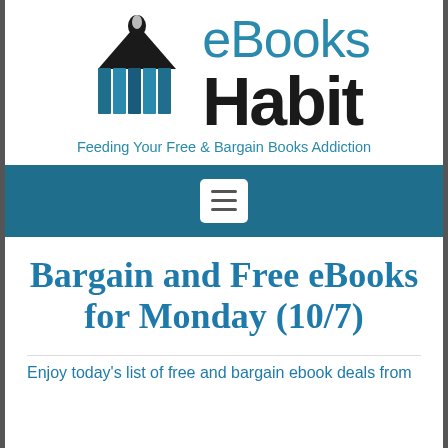[Figure (logo): eBooks Habit logo with book icon and tagline 'Feeding Your Free & Bargain Books Addiction']
[Figure (other): Navigation bar with hamburger menu button]
Bargain and Free eBooks for Monday (10/7)
Enjoy today's list of free and bargain ebook deals from